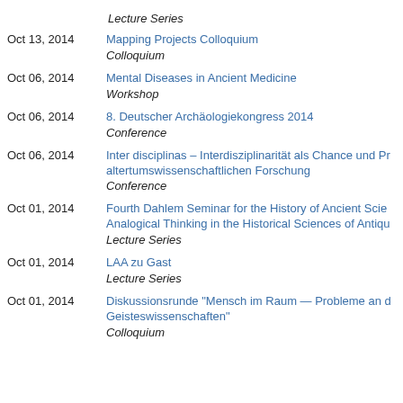Lecture Series
Oct 13, 2014 | Mapping Projects Colloquium | Colloquium
Oct 06, 2014 | Mental Diseases in Ancient Medicine | Workshop
Oct 06, 2014 | 8. Deutscher Archäologiekongress 2014 | Conference
Oct 06, 2014 | Inter disciplinas – Interdisziplinarität als Chance und Pr... altertumswissenschaftlichen Forschung | Conference
Oct 01, 2014 | Fourth Dahlem Seminar for the History of Ancient Scie... Analogical Thinking in the Historical Sciences of Antiqu... | Lecture Series
Oct 01, 2014 | LAA zu Gast | Lecture Series
Oct 01, 2014 | Diskussionsrunde "Mensch im Raum — Probleme an d... Geisteswissenschaften" | Colloquium